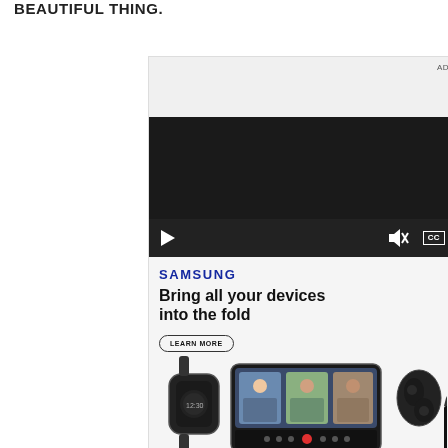BEAUTIFUL THING.
[Figure (screenshot): Advertisement for Samsung. Contains a video player with play button, volume icon, and CC button on a dark background. Below the player is a Samsung ad with logo, tagline 'Bring all your devices into the fold', a 'LEARN MORE' button, and product images showing a smartwatch, foldable phone with video call, and earbuds.]